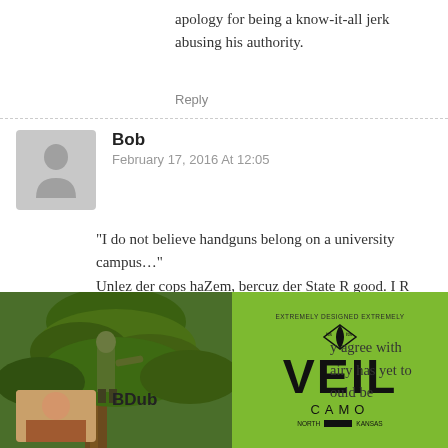apology for being a know-it-all jerk abusing his authority.
Reply
Bob
February 17, 2016 At 12:05
“I do not believe handguns belong on a university campus…” Unlez der cops haZem, bercuz der State R good. I R loves der State and der State lovers me bak.
Reply
BDub
[Figure (photo): Left: photo of person in camouflage climbing a tree in forest. Right: green VEIL CAMO logo/advertisement with large bold text.]
y agree with airy has yet to ould be